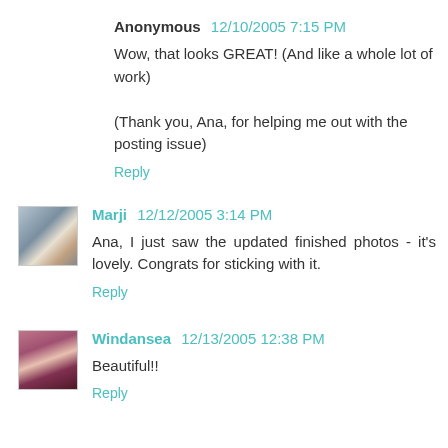Anonymous 12/10/2005 7:15 PM
Wow, that looks GREAT! (And like a whole lot of work)

(Thank you, Ana, for helping me out with the posting issue)
Reply
[Figure (photo): Small avatar photo of Marji]
Marji 12/12/2005 3:14 PM
Ana, I just saw the updated finished photos - it's lovely. Congrats for sticking with it.
Reply
[Figure (photo): Small avatar photo of Windansea]
Windansea 12/13/2005 12:38 PM
Beautiful!!
Reply